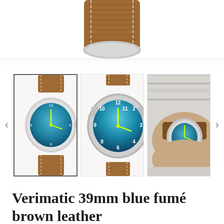[Figure (photo): Top cropped hero image showing the top portion of a watch with brown leather strap and stitching, silver case, partially cropped]
[Figure (photo): Three watch thumbnail images in a gallery row. Left (selected, bordered): watch with blue fumé dial, brown leather strap, silver case, full front view. Center: close-up of blue fumé dial with yellow hands and Arabic numerals. Right: watch worn on a wrist, blue dial visible.]
Verimatic 39mm blue fumé brown leather